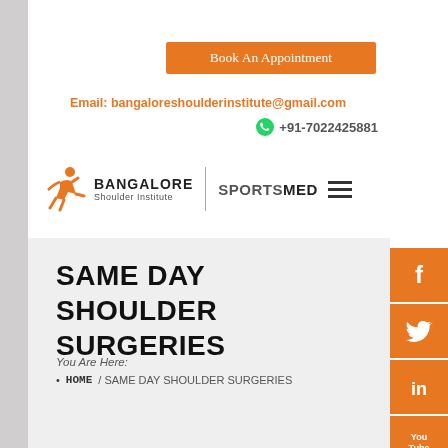Book An Appointment
Email: bangaloreshoulderinstitute@gmail.com
+91-7022425881
[Figure (logo): Bangalore Shoulder Institute logo with runner icon and SportsMed hamburger menu]
SAME DAY SHOULDER SURGERIES
You Are Here:
HOME / SAME DAY SHOULDER SURGERIES
[Figure (infographic): Vertical social media sidebar with Facebook, Twitter, LinkedIn, YouTube, Pinterest, Google+ icons on orange background]